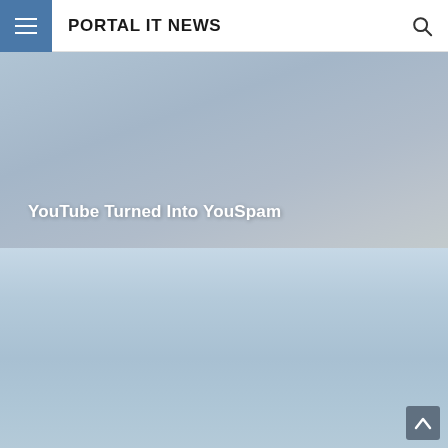PORTAL IT NEWS
[Figure (photo): Hero image area with blue-grey gradient background containing the article title 'YouTube Turned Into YouSpam']
YouTube Turned Into YouSpam
[Figure (photo): Lower section with light blue gradient background, representing a secondary image or content area for the article]